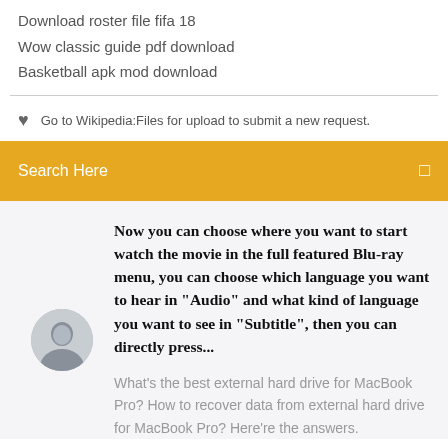Download roster file fifa 18
Wow classic guide pdf download
Basketball apk mod download
Go to Wikipedia:Files for upload to submit a new request.
Search Here
Now you can choose where you want to start watch the movie in the full featured Blu-ray menu, you can choose which language you want to hear in "Audio" and what kind of language you want to see in "Subtitle", then you can directly press...
What's the best external hard drive for MacBook Pro? How to recover data from external hard drive for MacBook Pro? Here're the answers.